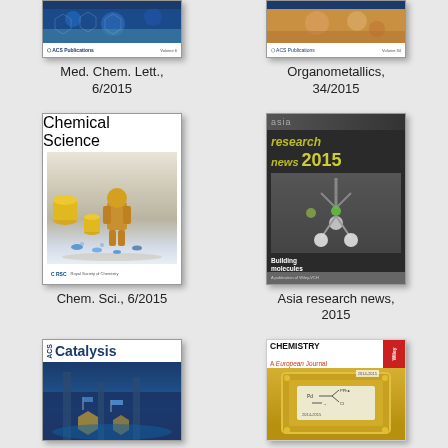[Figure (illustration): Journal cover: Med. Chem. Lett., microscopy/chemistry image with ACS logo]
Med. Chem. Lett.,
6/2015
[Figure (illustration): Journal cover: Organometallics, gold/brown chemistry image with ACS logo]
Organometallics,
34/2015
[Figure (illustration): Journal cover: Chemical Science, showing robotic figures and yellow cylinders on white background]
Chem. Sci., 6/2015
[Figure (illustration): Journal cover: Asia research news 2015, dark background with molecular model and text about building molecules with atomic precision]
Asia research news,
2015
[Figure (illustration): Journal cover: ACS Catalysis, dark blue background with industrial/catalysis scene]
[Figure (illustration): Journal cover: Chemistry A European Journal, white/red header with golden chemistry image]